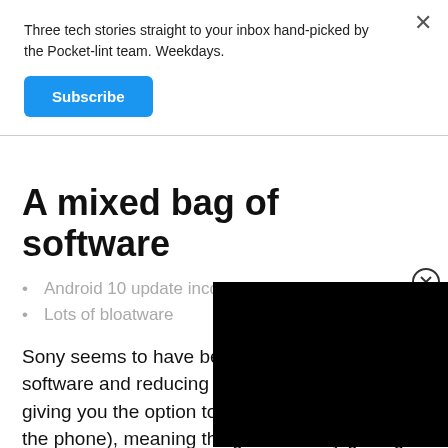Three tech stories straight to your inbox hand-picked by the Pocket-lint team. Weekdays.
Subscribe
A mixed bag of software
Android 10 update incoming
Lots of bloatware
Sony seems to have been sending a clear message on software and reducing the bundled software (or giving you the option to opt-out when you setup the phone), meaning things are slowly getting a little cleaner.
[Figure (other): Black video player overlay in bottom right corner]